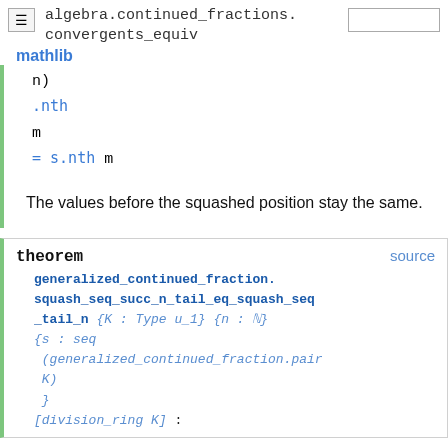algebra.continued_fractions.convergents_equiv
n)
.nth
m
= s.nth m
The values before the squashed position stay the same.
theorem source
generalized_continued_fraction.squash_seq_succ_n_tail_eq_squash_seq_tail_n {K : Type u_1} {n : N}
{s : seq
(generalized_continued_fraction.pair
K)
}
[division_ring K] :